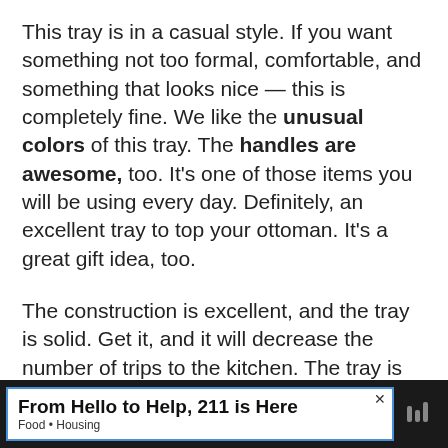This tray is in a casual style. If you want something not too formal, comfortable, and something that looks nice — this is completely fine. We like the unusual colors of this tray. The handles are awesome, too. It's one of those items you will be using every day. Definitely, an excellent tray to top your ottoman. It's a great gift idea, too.
The construction is excellent, and the tray is solid. Get it, and it will decrease the number of trips to the kitchen. The tray is packed securely with a thank you card included.
Quick facts:
Stylish multi-color design
[Figure (other): Advertisement banner: 'From Hello to Help, 211 is Here' with subtitle 'Food • Housing' on dark background]